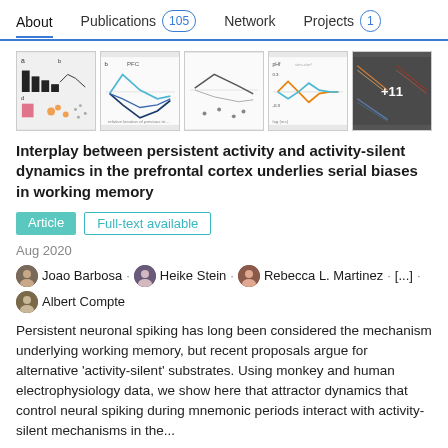About  Publications 105  Network  Projects 1
[Figure (other): Row of 5 scientific figure thumbnails from the paper, with a '+11' overlay on the last one]
Interplay between persistent activity and activity-silent dynamics in the prefrontal cortex underlies serial biases in working memory
Article  Full-text available
Aug 2020
Joao Barbosa · Heike Stein · Rebecca L. Martinez · [...] · Albert Compte
Persistent neuronal spiking has long been considered the mechanism underlying working memory, but recent proposals argue for alternative 'activity-silent' substrates. Using monkey and human electrophysiology data, we show here that attractor dynamics that control neural spiking during mnemonic periods interact with activity-silent mechanisms in the...